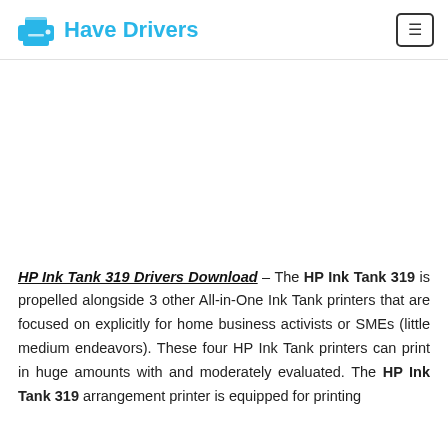Have Drivers
HP Ink Tank 319 Drivers Download – The HP Ink Tank 319 is propelled alongside 3 other All-in-One Ink Tank printers that are focused on explicitly for home business activists or SMEs (little medium endeavors). These four HP Ink Tank printers can print in huge amounts with and moderately evaluated. The HP Ink Tank 319 arrangement printer is equipped for printing